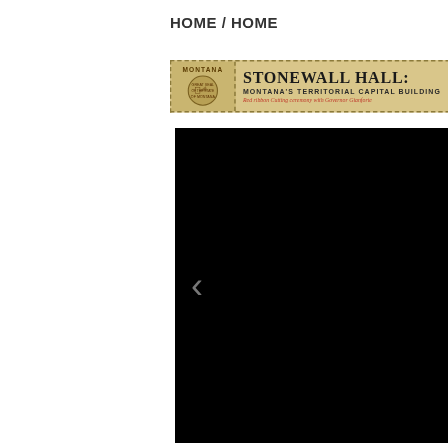HOME / HOME
[Figure (illustration): Banner for Stonewall Hall: Montana's Territorial Capital Building. Red Ribbon Cutting ceremony with Governor Gianforte. Thursday August 27, from 9 AM-10 AM. Features Montana state seal on left, decorative ribbon and Virginia City Nevada City stamp on right.]
[Figure (photo): Large black photo area with left and right navigation arrows (carousel/slideshow), background is entirely black.]